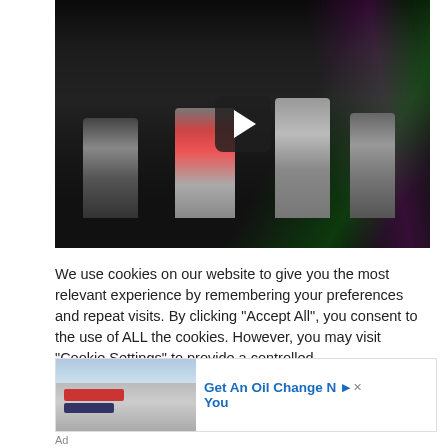[Figure (photo): A photo of multiple spray paint cans (graffiti cans including brands visible like Canyon) arranged against a dark wall with graffiti in the background. A video play button overlay is visible in the center.]
We use cookies on our website to give you the most relevant experience by remembering your preferences and repeat visits. By clicking "Accept All", you consent to the use of ALL the cookies. However, you may visit "Cookie Settings" to provide a controlled
[Figure (photo): Advertisement image showing a Firestone auto care building exterior with text 'Get An Oil Change Near You']
Ad